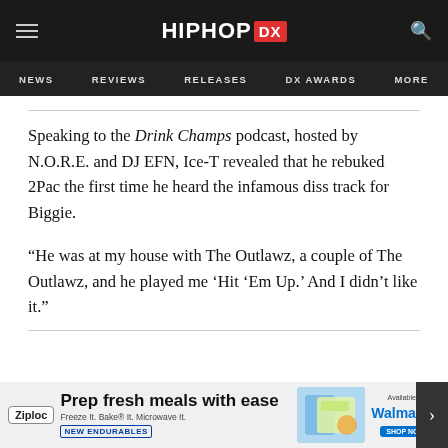HIPHOP DX — NEWS | REVIEWS | RELEASES | DX AWARDS | MORE
Speaking to the Drink Champs podcast, hosted by N.O.R.E. and DJ EFN, Ice-T revealed that he rebuked 2Pac the first time he heard the infamous diss track for Biggie.
“He was at my house with The Outlawz, a couple of The Outlawz, and he played me ‘Hit ‘Em Up.’ And I didn’t like it.”
[Figure (screenshot): Ziploc advertisement banner: Prep fresh meals with ease — Freeze It. Bake It. Microwave It. NEW ENDURABLES. Available at Walmart.]